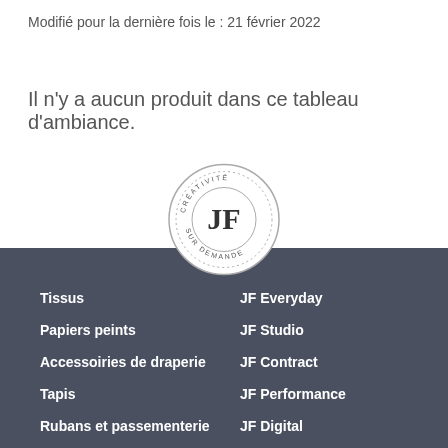Modifié pour la dernière fois le : 21 février 2022
Il n'y a aucun produit dans ce tableau d'ambiance.
[Figure (logo): JF brand circular logo with text CRÉATIVITÉ SUR DEMANDE around the border and JF monogram in center]
Tissus
Papiers peints
Accessoiries de draperie
Tapis
Rubans et passementerie
JF Everyday
JF Studio
JF Contract
JF Performance
JF Digital